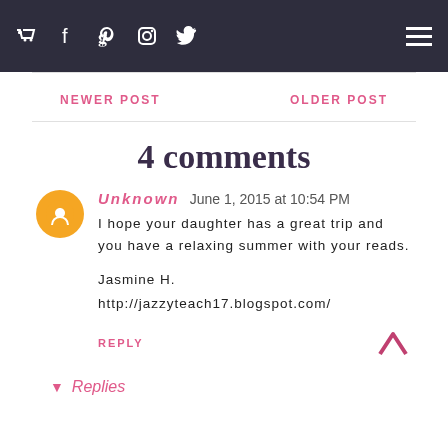Navigation bar with cart, Facebook, Pinterest, Instagram, Twitter icons and hamburger menu
NEWER POST   OLDER POST
4 comments
Unknown June 1, 2015 at 10:54 PM
I hope your daughter has a great trip and you have a relaxing summer with your reads.

Jasmine H.
http://jazzyteach17.blogspot.com/
REPLY
Replies